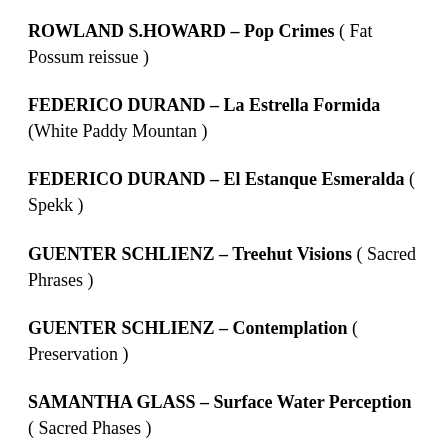ROWLAND S.HOWARD – Pop Crimes ( Fat Possum reissue )
FEDERICO DURAND – La Estrella Formida (White Paddy Mountan )
FEDERICO DURAND – El Estanque Esmeralda ( Spekk )
GUENTER SCHLIENZ – Treehut Visions ( Sacred Phrases )
GUENTER SCHLIENZ – Contemplation ( Preservation )
SAMANTHA GLASS – Surface Water Perception ( Sacred Phases )